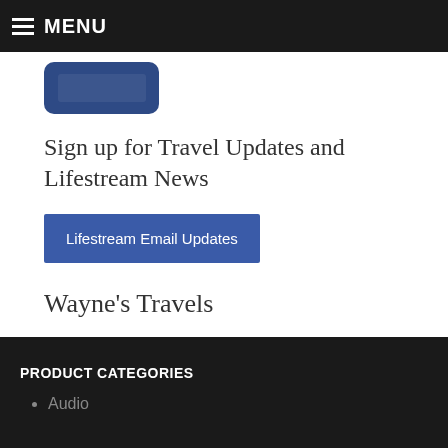MENU
[Figure (screenshot): Partial app store button or similar dark rounded-rectangle button element]
Sign up for Travel Updates and Lifestream News
Lifestream Email Updates
Wayne's Travels
PRODUCT CATEGORIES
Audio